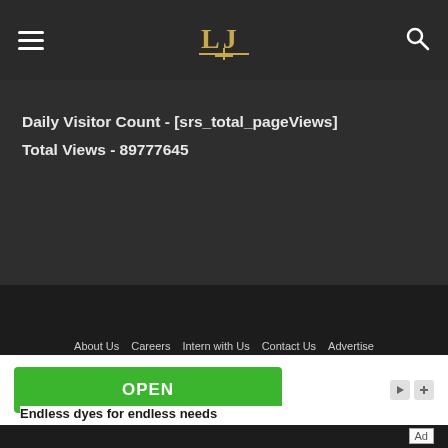Law Times Journal header with hamburger menu, logo, and search icon
Daily Visitor Count - [srs_total_pageViews]
Total Views - 89777645
About Us  Careers  Intern with Us  Contact Us  Advertise  Privacy Policy  Terms & Conditions  Copyright Policy  © 2014-2022 Law Times Journal | All Rights Reserved
[Figure (screenshot): Green OPEN button advertisement with ad controls]
Endless dyes for endless needs
Ad